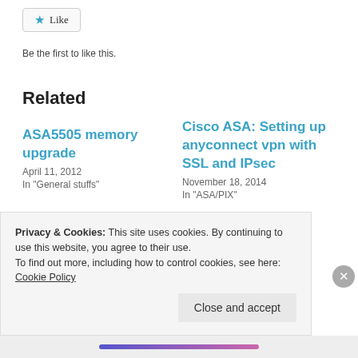[Figure (other): Like button with star icon]
Be the first to like this.
Related
ASA5505 memory upgrade
April 11, 2012
In "General stuffs"
Cisco ASA: Setting up anyconnect vpn with SSL and IPsec
November 18, 2014
In "ASA/PIX"
Privacy & Cookies: This site uses cookies. By continuing to use this website, you agree to their use.
To find out more, including how to control cookies, see here: Cookie Policy
Close and accept